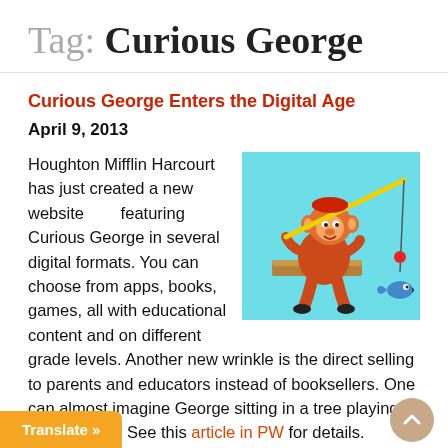Tag: Curious George
Curious George Enters the Digital Age
April 9, 2013
Houghton Mifflin Harcourt has just created a new website featuring Curious George in several digital formats. You can choose from apps, books, games, all with educational content and on different grade levels. Another new wrinkle is the direct selling to parents and educators instead of booksellers. One can almost imagine George sitting in a tree playing with an iPad! See this article in PW for details.
[Figure (illustration): Curious George (cartoon monkey in red outfit) sitting on a dock fishing with a yellow fishing rod, a blue fish hanging on the line, on a cyan/light blue background.]